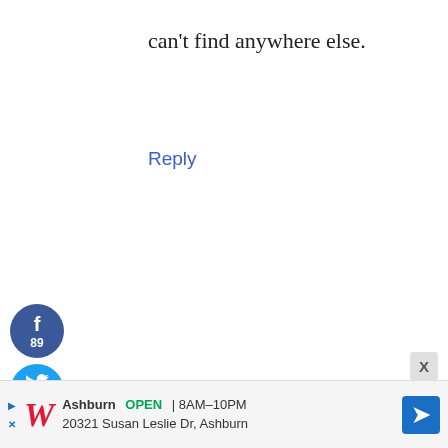can't find anywhere else.
Reply
[Figure (illustration): Social share sidebar with Facebook (89), Twitter (60), Pinterest buttons and 149 SHARES total]
[Figure (illustration): Pixel art avatar in dark red/maroon and teal green colors]
debra summerer says
AUGUST 16, 2015 AT 3:40 PM
I love everything about IKEA. They have the best designs and styles for the whole house at great prices
[Figure (illustration): Advertisement banner: Walgreens Ashburn OPEN 8AM-10PM, 20321 Susan Leslie Dr, Ashburn]